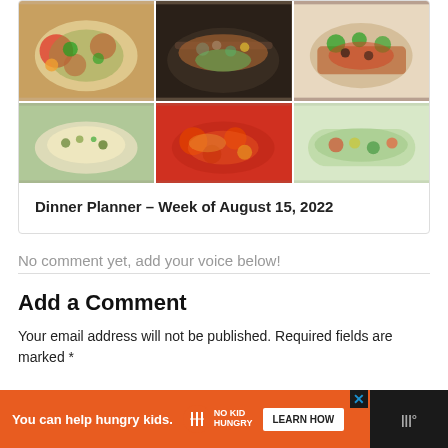[Figure (photo): Grid of food photos for dinner planner, 2 rows by 3 columns: colorful vegetable dishes, stir fry in a pan, grilled meat with toppings, rice or grain bowl, red pepper stir fry, and a green salad wrap.]
Dinner Planner – Week of August 15, 2022
No comment yet, add your voice below!
Add a Comment
Your email address will not be published. Required fields are marked *
[Figure (infographic): Orange advertisement banner: 'You can help hungry kids.' with No Kid Hungry logo and 'LEARN HOW' button on dark background.]